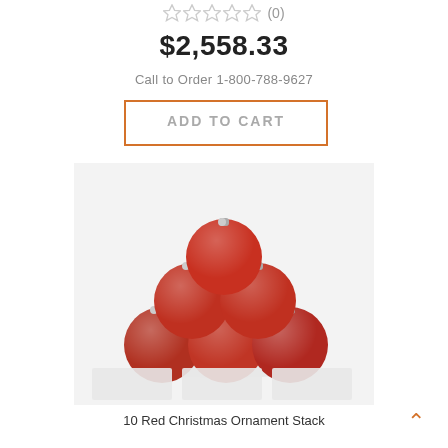★★★★★ (0)
$2,558.33
Call to Order 1-800-788-9627
ADD TO CART
[Figure (photo): Six red Christmas ornament balls stacked in a pyramid shape on a white surface. The ornaments are shiny red with silver caps.]
10 Red Christmas Ornament Stack